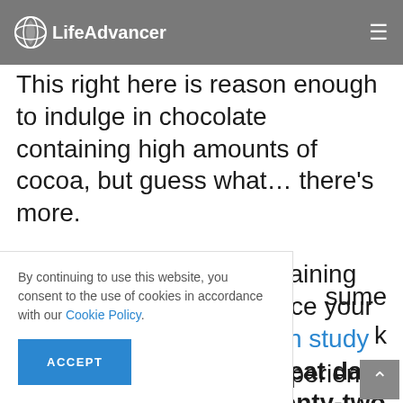LifeAdvancer
This right here is reason enough to indulge in chocolate containing high amounts of cocoa, but guess what... there's more.
Eating highly cocoa containing chocolate can even reduce your risk of stroke. A Canadian study shows that people who eat dark chocolate often are twenty-two [percent less likely to suffer a stroke].
By continuing to use this website, you consent to the use of cookies in accordance with our Cookie Policy.
ACCEPT